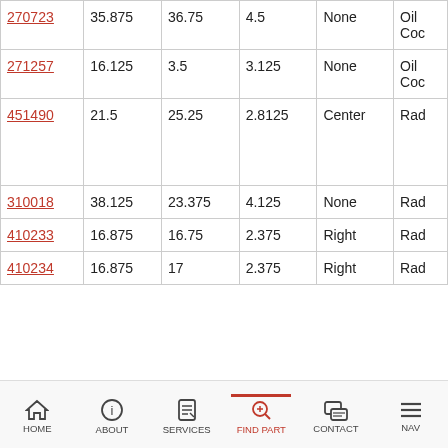| Part# | Col2 | Col3 | Col4 | Col5 | Col6 |
| --- | --- | --- | --- | --- | --- |
| 270723 | 35.875 | 36.75 | 4.5 | None | Oil Coc |
| 271257 | 16.125 | 3.5 | 3.125 | None | Oil Coc |
| 451490 | 21.5 | 25.25 | 2.8125 | Center | Rad |
| 310018 | 38.125 | 23.375 | 4.125 | None | Rad |
| 410233 | 16.875 | 16.75 | 2.375 | Right | Rad |
| 410234 | 16.875 | 17 | 2.375 | Right | Rad |
HOME  ABOUT  SERVICES  FIND PART  CONTACT  NAV